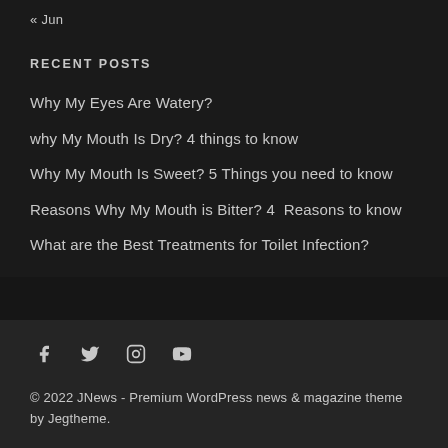« Jun
RECENT POSTS
Why My Eyes Are Watery?
why My Mouth Is Dry? 4 things to know
Why My Mouth Is Sweet? 5 Things you need to know
Reasons Why My Mouth is Bitter? 4  Reasons to know
What are the Best Treatments for Toilet Infection?
© 2022 JNews - Premium WordPress news & magazine theme by Jegtheme.